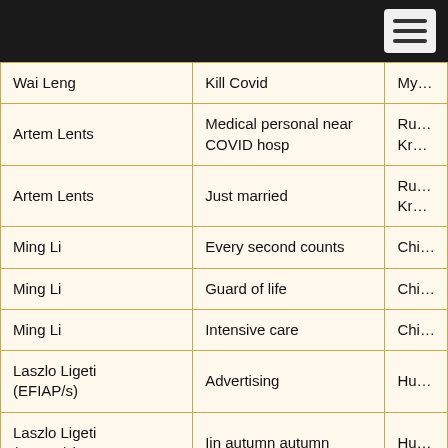| Name | Title | Country |
| --- | --- | --- |
| Wai Leng | Kill Covid | Myanm |
| Artem Lents | Medical personal near COVID hosp | Russian Krasno |
| Artem Lents | Just married | Russian Krasno |
| Ming Li | Every second counts | China/ |
| Ming Li | Guard of life | China/ |
| Ming Li | Intensive care | China/ |
| Laszlo Ligeti (EFIAP/s) | Advertising | Hungar |
| Laszlo Ligeti (EFIAP/s) | Iin autumn autumn | Hungar |
| Billion Lim | Go to isolation | Malays |
| Billion Lim | mask must | Malays |
| Htoo Naing Lin | Wish | Myanm |